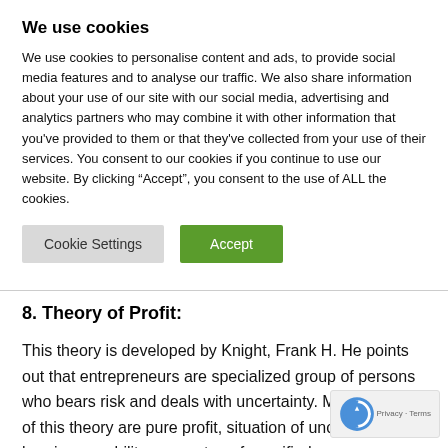We use cookies
We use cookies to personalise content and ads, to provide social media features and to analyse our traffic. We also share information about your use of our site with our social media, advertising and analytics partners who may combine it with other information that you’ve provided to them or that they’ve collected from your use of their services. You consent to our cookies if you continue to use our website. By clicking “Accept”, you consent to the use of ALL the cookies.
8. Theory of Profit:
This theory is developed by Knight, Frank H. He points out that entrepreneurs are specialized group of persons who bears risk and deals with uncertainty. Main features of this theory are pure profit, situation of uncertainty, bearing capability, guarantee of specified sum,